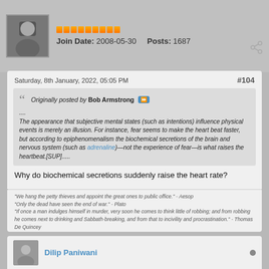Join Date: 2008-05-30    Posts: 1687
Saturday, 8th January, 2022, 05:05 PM  #104
Originally posted by Bob Armstrong
....
The appearance that subjective mental states (such as intentions) influence physical events is merely an illusion. For instance, fear seems to make the heart beat faster, but according to epiphenomenalism the biochemical secretions of the brain and nervous system (such as adrenaline)—not the experience of fear—is what raises the heartbeat.[SUP].....
Why do biochemical secretions suddenly raise the heart rate?
"We hang the petty thieves and appoint the great ones to public office." - Aesop
"Only the dead have seen the end of war." - Plato
"If once a man indulges himself in murder, very soon he comes to think little of robbing; and from robbing he comes next to drinking and Sabbath-breaking, and from that to incivility and procrastination." - Thomas De Quincey
Dilip Paniwani